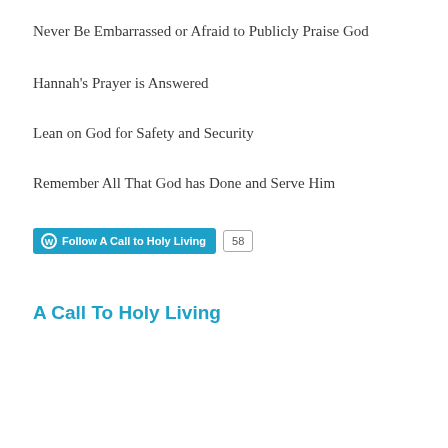Never Be Embarrassed or Afraid to Publicly Praise God
Hannah's Prayer is Answered
Lean on God for Safety and Security
Remember All That God has Done and Serve Him
[Figure (other): WordPress Follow button for 'A Call to Holy Living' with follower count of 58]
A Call To Holy Living